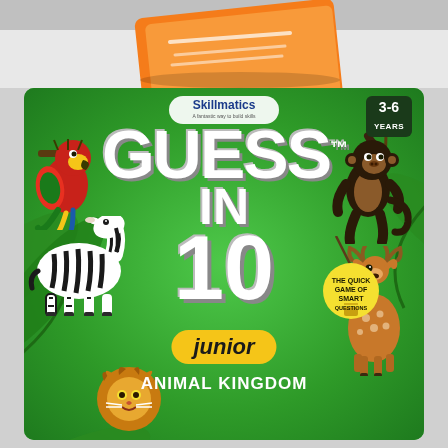[Figure (photo): Top portion showing orange Skillmatics card game box partially visible at top of image]
[Figure (illustration): Skillmatics Guess in 10 Junior Animal Kingdom game box cover on green background with animals: parrot, monkey, zebra, deer, lion, turtle, and jungle leaves. Large white text reads GUESS IN 10 with TM mark. Yellow badge says 'junior'. Bottom text says ANIMAL KINGDOM. Skillmatics logo at top center. Age badge 3-6 YEARS at top right. Yellow lightbulb with text THE QUICK GAME OF SMART QUESTIONS on right side.]